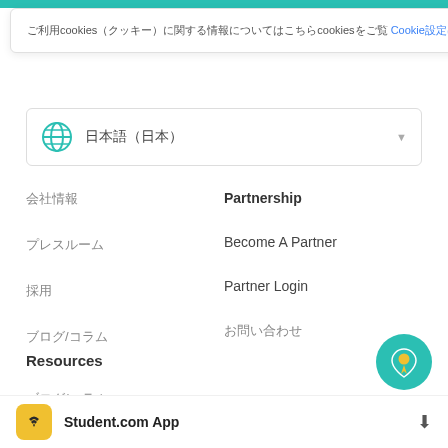ご利用cookies（クッキー）に関する情報についてはこちらcookiesをご覧 Cookie設定はこちら ×
🌐 日本語（日本）
会社情報
Partnership
プレスルーム
Become A Partner
採用
Partner Login
ブログ/コラム
お問い合わせ
Resources
ブログ/コラム
よくある質問
利用規約
Student.com App